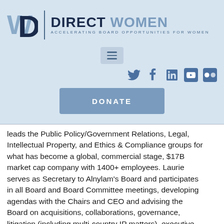[Figure (logo): Direct Women logo with W D icon and text 'DIRECT WOMEN - ACCELERATING BOARD OPPORTUNITIES FOR WOMEN']
[Figure (infographic): Navigation hamburger menu button (three horizontal lines) on light blue background]
[Figure (infographic): Social media icons: Twitter, Facebook, LinkedIn, YouTube, Flickr]
[Figure (infographic): DONATE button in steel blue]
leads the Public Policy/Government Relations, Legal, Intellectual Property, and Ethics & Compliance groups for what has become a global, commercial stage, $17B market cap company with 1400+ employees. Laurie serves as Secretary to Alnylam's Board and participates in all Board and Board Committee meetings, developing agendas with the Chairs and CEO and advising the Board on acquisitions, collaborations, governance, litigation (including multi-country IP matters), executive compensation, Board